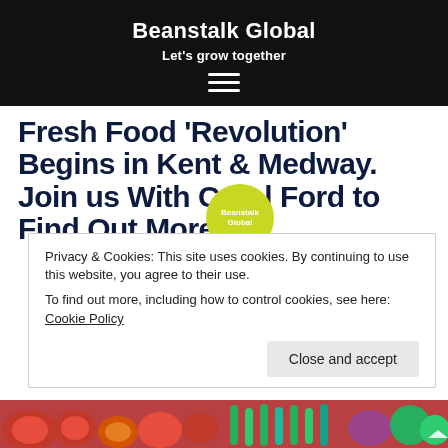Beanstalk Global
Let's grow together
Fresh Food ‘Revolution’ Begins in Kent & Medway. Join us With Carol Ford to Find Out More
[Figure (logo): Beanstalk Global circular yellow-green logo with white text]
Privacy & Cookies: This site uses cookies. By continuing to use this website, you agree to their use.
To find out more, including how to control cookies, see here: Cookie Policy
[Figure (photo): Strip of fresh vegetables and fruits at the bottom of the page]